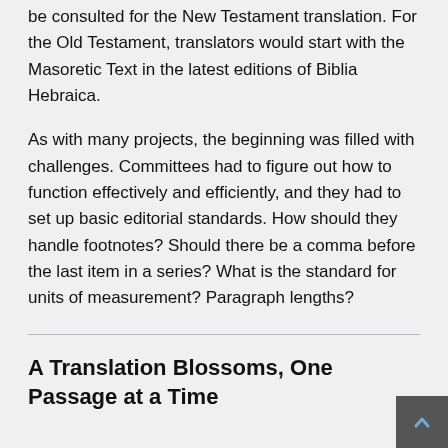be consulted for the New Testament translation. For the Old Testament, translators would start with the Masoretic Text in the latest editions of Biblia Hebraica.
As with many projects, the beginning was filled with challenges. Committees had to figure out how to function effectively and efficiently, and they had to set up basic editorial standards. How should they handle footnotes? Should there be a comma before the last item in a series? What is the standard for units of measurement? Paragraph lengths?
A Translation Blossoms, One Passage at a Time